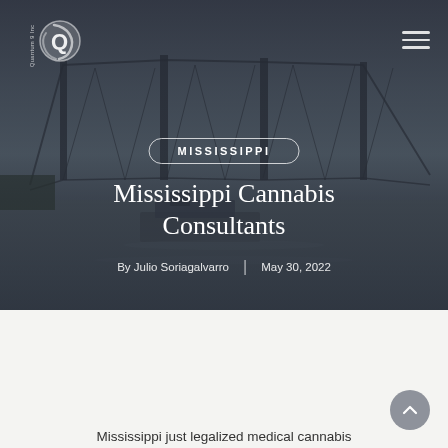[Figure (photo): Dark-toned hero image of a bridge over a river with a barge, overlaid with semi-transparent dark gradient. Quantum 9 Inc logo in top-left, hamburger menu icon in top-right.]
Quantum 9 Inc | [hamburger menu]
MISSISSIPPI
Mississippi Cannabis Consultants
By Julio Soriagalvarro | May 30, 2022
Mississippi just legalized medical cannabis